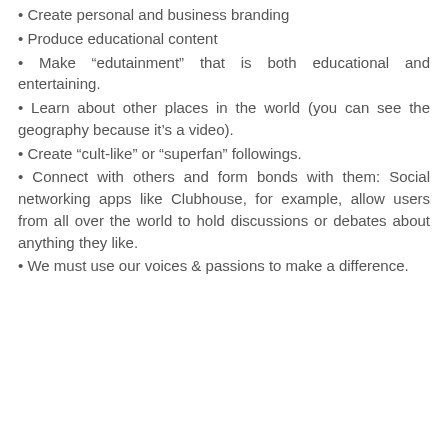• Create personal and business branding
• Produce educational content
• Make “edutainment” that is both educational and entertaining.
• Learn about other places in the world (you can see the geography because it’s a video).
• Create “cult-like” or “superfan” followings.
• Connect with others and form bonds with them: Social networking apps like Clubhouse, for example, allow users from all over the world to hold discussions or debates about anything they like.
• We must use our voices & passions to make a difference.